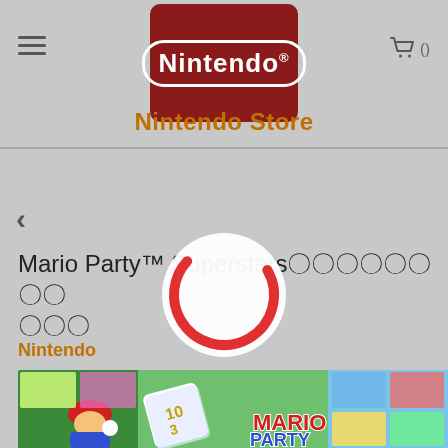Nintendo Store
‹
Mario Party™ Superstars?????? ?? ???
Nintendo
[Figure (screenshot): Mario Party Superstars game cover art showing Mario character with dice block and various game board scenes]